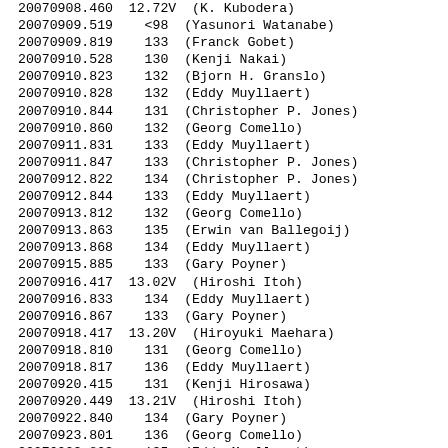| Julian Date | Magnitude/Value | Observer |
| --- | --- | --- |
| 20070908.460 | 12.72V | (K. Kubodera) |
| 20070909.519 | <98 | (Yasunori Watanabe) |
| 20070909.819 | 133 | (Franck Gobet) |
| 20070910.528 | 130 | (Kenji Nakai) |
| 20070910.823 | 132 | (Bjorn H. Granslo) |
| 20070910.828 | 132 | (Eddy Muyllaert) |
| 20070910.844 | 131 | (Christopher P. Jones) |
| 20070910.860 | 132 | (Georg Comello) |
| 20070911.831 | 133 | (Eddy Muyllaert) |
| 20070911.847 | 133 | (Christopher P. Jones) |
| 20070912.822 | 134 | (Christopher P. Jones) |
| 20070912.844 | 133 | (Eddy Muyllaert) |
| 20070913.812 | 132 | (Georg Comello) |
| 20070913.863 | 135 | (Erwin van Ballegoij) |
| 20070913.868 | 134 | (Eddy Muyllaert) |
| 20070915.885 | 133 | (Gary Poyner) |
| 20070916.417 | 13.02V | (Hiroshi Itoh) |
| 20070916.833 | 134 | (Eddy Muyllaert) |
| 20070916.867 | 133 | (Gary Poyner) |
| 20070918.417 | 13.20V | (Hiroyuki Maehara) |
| 20070918.810 | 131 | (Georg Comello) |
| 20070918.817 | 136 | (Eddy Muyllaert) |
| 20070920.415 | 131 | (Kenji Hirosawa) |
| 20070920.449 | 13.21V | (Hiroshi Itoh) |
| 20070922.840 | 134 | (Gary Poyner) |
| 20070923.801 | 136 | (Georg Comello) |
| 20070923.803 | 135 | (Eddy Muyllaert) |
| 20070923.811 | 131 | (Franck Gobet) |
| 20070924.797 | 135 | (Georg Comello) |
| 20070924.818 | 135 | (Eddy Muyllaert) |